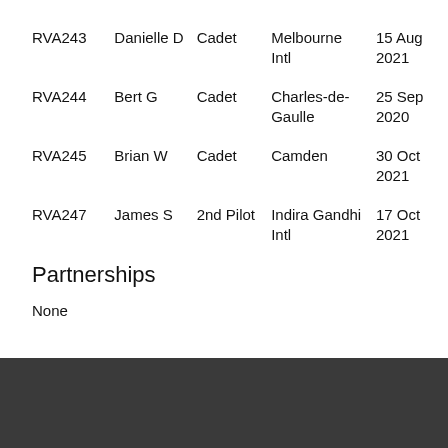| ID | Name | Role | Airport | Date |
| --- | --- | --- | --- | --- |
| RVA243 | Danielle D | Cadet | Melbourne Intl | 15 Aug 2021 |
| RVA244 | Bert G | Cadet | Charles-de-Gaulle | 25 Sep 2020 |
| RVA245 | Brian W | Cadet | Camden | 30 Oct 2021 |
| RVA247 | James S | 2nd Pilot | Indira Gandhi Intl | 17 Oct 2021 |
Partnerships
None